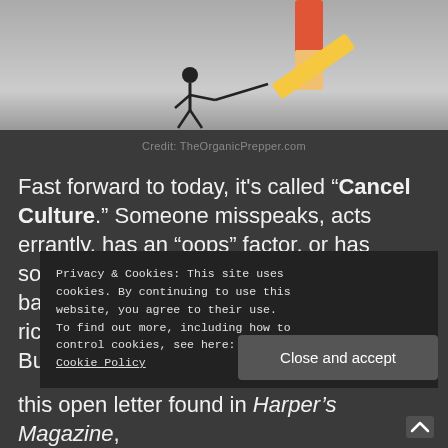[Figure (photo): Partial image of a person pushing a large pencil/eraser with an eraser tip visible, on a grey background]
Credit: TheOrganicPrepper.com
Fast forward to today, it's called “Cancel Culture.” Someone misspeaks, acts errantly, has an “oops” factor, or has something drudged up from a decade back, we should ruin their lives. Some richly deserve it. Others definitely do not. But no one is given the time t... n... this open letter found in Harper’s Magazine,
Privacy & Cookies: This site uses cookies. By continuing to use this website, you agree to their use.
To find out more, including how to control cookies, see here:
Cookie Policy
Close and accept